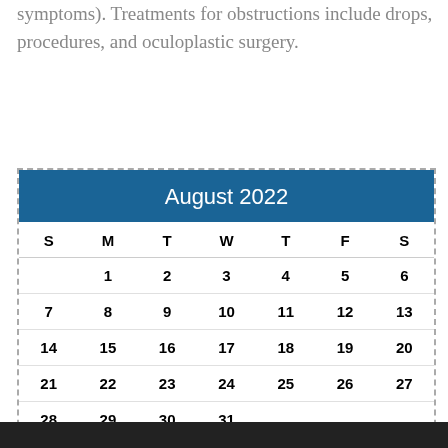symptoms). Treatments for obstructions include drops, procedures, and oculoplastic surgery.
| S | M | T | W | T | F | S |
| --- | --- | --- | --- | --- | --- | --- |
|  | 1 | 2 | 3 | 4 | 5 | 6 |
| 7 | 8 | 9 | 10 | 11 | 12 | 13 |
| 14 | 15 | 16 | 17 | 18 | 19 | 20 |
| 21 | 22 | 23 | 24 | 25 | 26 | 27 |
| 28 | 29 | 30 | 31 |  |  |  |
« Jul 2020